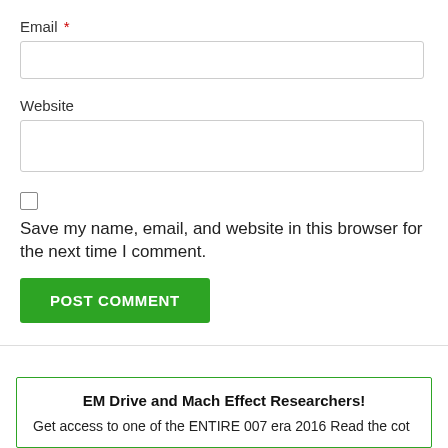Email *
Website
Save my name, email, and website in this browser for the next time I comment.
POST COMMENT
EM Drive and Mach Effect Researchers!
Get access to one of the ENTIRE 007 era 2016 Read the cot...